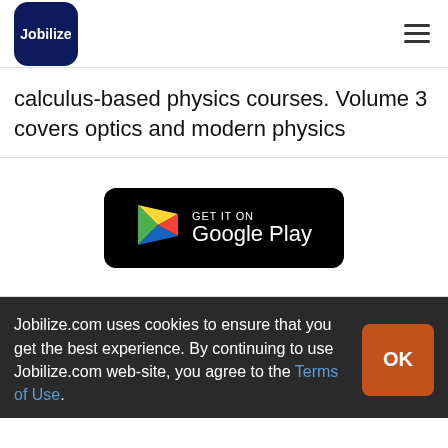Jobilize
calculus-based physics courses. Volume 3 covers optics and modern physics
[Figure (logo): Get it on Google Play badge — black rounded rectangle with Google Play triangle logo and text 'GET IT ON Google Play']
Jobilize.com uses cookies to ensure that you get the best experience. By continuing to use Jobilize.com web-site, you agree to the Terms of Use.